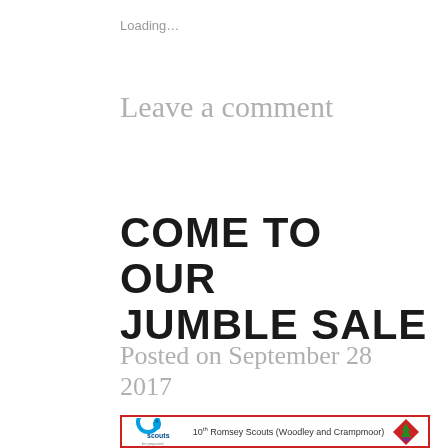Loading…
Leave a comment
COME TO OUR JUMBLE SALE
Posted on September 28 2017
[Figure (logo): Scouts logo on left, text '10th Romsey Scouts (Woodley and Crampmoor)' in center, diamond-shaped badge on right, all inside a red-bordered box]